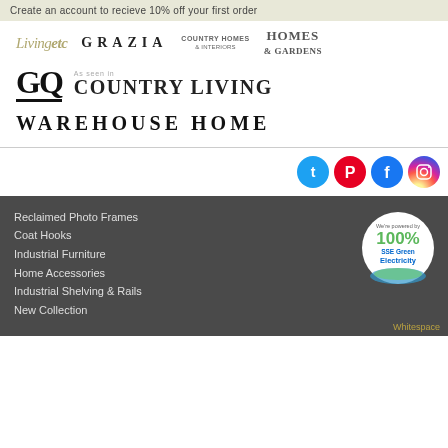Create an account to recieve 10% off your first order
[Figure (logo): Media logos: Livingetc, GRAZIA, COUNTRY HOMES & INTERIORS, HOMES & GARDENS, GQ, As seen in COUNTRY LIVING, WAREHOUSE HOME]
[Figure (infographic): Social media icons: Twitter, Pinterest, Facebook, Instagram]
Reclaimed Photo Frames
Coat Hooks
Industrial Furniture
Home Accessories
Industrial Shelving & Rails
New Collection
[Figure (logo): SSE Green Electricity 100% badge - We're powered by 100% SSE Green Electricity]
Whitespace